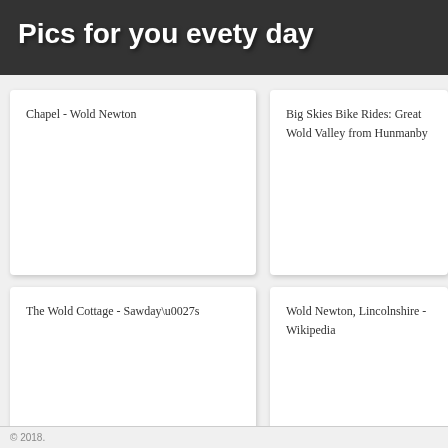Pics for you evety day
Chapel - Wold Newton
Big Skies Bike Rides: Great Wold Valley from Hunmanby
The Wold Cottage - Sawday\u0027s
Wold Newton, Lincolnshire - Wikipedia
Yorkshire Wolds guide of Mother Nature\u0027s Patchwork Quilt
Image Gallery - Wold Newton Parish Council
© 2018.